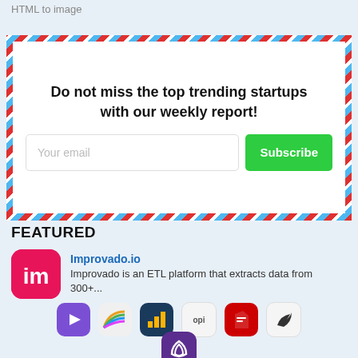HTML to image
Do not miss the top trending startups with our weekly report!
Your email
Subscribe
FEATURED
Improvado.io
Improvado is an ETL platform that extracts data from 300+...
[Figure (other): Row of application icons: purple arrow, colorful feather, bar chart, opi logo, red PDF icon, bird logo]